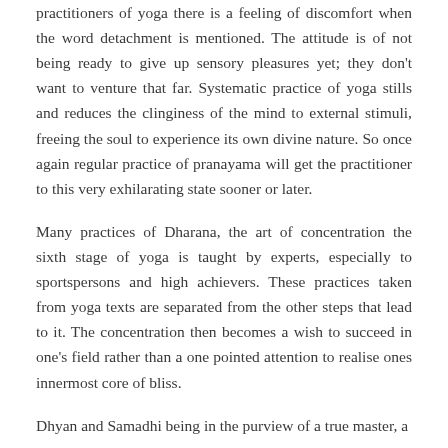practitioners of yoga there is a feeling of discomfort when the word detachment is mentioned. The attitude is of not being ready to give up sensory pleasures yet; they don't want to venture that far. Systematic practice of yoga stills and reduces the clinginess of the mind to external stimuli, freeing the soul to experience its own divine nature. So once again regular practice of pranayama will get the practitioner to this very exhilarating state sooner or later.
Many practices of Dharana, the art of concentration the sixth stage of yoga is taught by experts, especially to sportspersons and high achievers. These practices taken from yoga texts are separated from the other steps that lead to it. The concentration then becomes a wish to succeed in one's field rather than a one pointed attention to realise ones innermost core of bliss.
Dhyan and Samadhi being in the purview of a true master, a